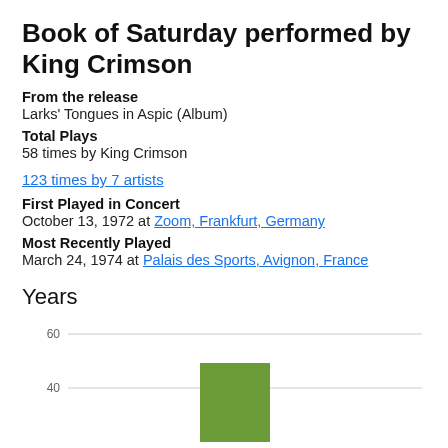Book of Saturday performed by King Crimson
From the release
Larks' Tongues in Aspic (Album)
Total Plays
58 times by King Crimson
123 times by 7 artists
First Played in Concert
October 13, 1972 at Zoom, Frankfurt, Germany
Most Recently Played
March 24, 1974 at Palais des Sports, Avignon, France
Years
[Figure (bar-chart): Bar chart showing plays by year. A green bar is visible around 1973 reaching approximately 44. Y-axis shows grid lines at 40 and 60.]